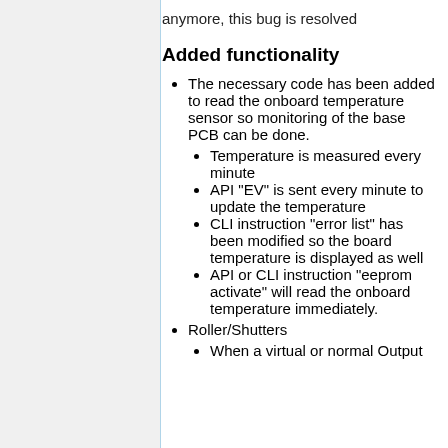anymore, this bug is resolved
Added functionality
The necessary code has been added to read the onboard temperature sensor so monitoring of the base PCB can be done.
Temperature is measured every minute
API "EV" is sent every minute to update the temperature
CLI instruction "error list" has been modified so the board temperature is displayed as well
API or CLI instruction "eeprom activate" will read the onboard temperature immediately.
Roller/Shutters
When a virtual or normal Output